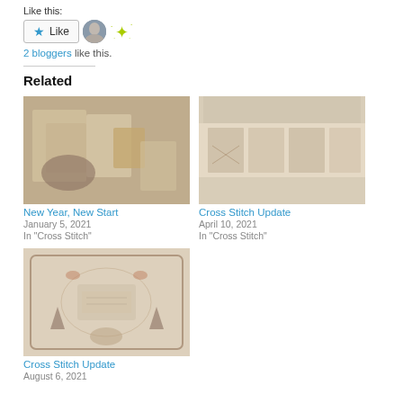Like this:
[Figure (other): Like button with star icon, user avatar, and sparkle icon]
2 bloggers like this.
Related
[Figure (photo): Photo of cross stitch supplies and patterns on table]
New Year, New Start
January 5, 2021
In "Cross Stitch"
[Figure (photo): Photo of cross stitch embroidery work in progress on linen]
Cross Stitch Update
April 10, 2021
In "Cross Stitch"
[Figure (photo): Photo of a completed cross stitch sampler with floral and decorative motifs]
Cross Stitch Update
August 6, 2021